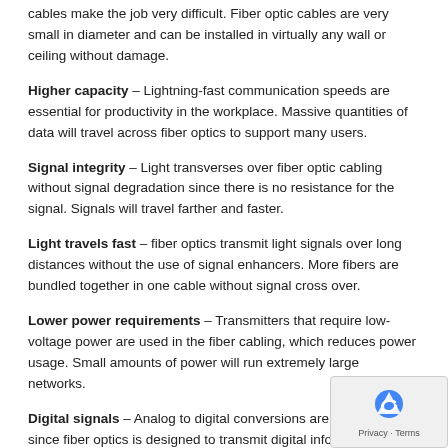cables make the job very difficult. Fiber optic cables are very small in diameter and can be installed in virtually any wall or ceiling without damage.
Higher capacity – Lightning-fast communication speeds are essential for productivity in the workplace. Massive quantities of data will travel across fiber optics to support many users.
Signal integrity – Light transverses over fiber optic cabling without signal degradation since there is no resistance for the signal. Signals will travel farther and faster.
Light travels fast – fiber optics transmit light signals over long distances without the use of signal enhancers. More fibers are bundled together in one cable without signal cross over.
Lower power requirements – Transmitters that require low-voltage power are used in the fiber cabling, which reduces power usage. Small amounts of power will run extremely large networks.
Digital signals – Analog to digital conversions are not required since fiber optics is designed to transmit digital information. Network efficiency is improved with fiber optic cabling.
Fire risk eliminated – Electricity is not used in the fiber cabling, which eliminates the risk of fire. Technicians are safer when working with fiber optic cabling.